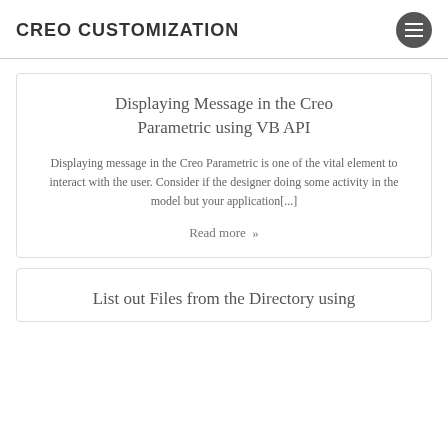CREO CUSTOMIZATION
Displaying Message in the Creo Parametric using VB API
Displaying message in the Creo Parametric is one of the vital element to interact with the user. Consider if the designer doing some activity in the model but your application[...]
Read more »
List out Files from the Directory using